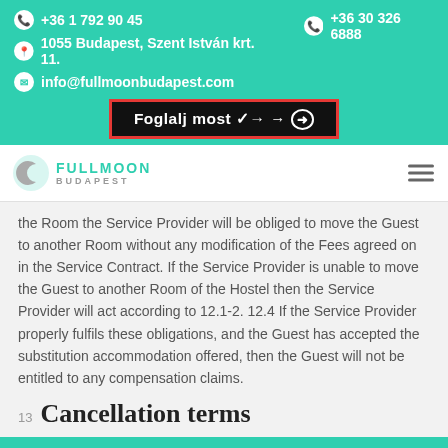+36 1 792 90 45  |  +36 30 326 6888
1055 Budapest, Szent István krt. 11.
info@fullmoonbudapest.com
Foglalj most →
the Room the Service Provider will be obliged to move the Guest to another Room without any modification of the Fees agreed on in the Service Contract. If the Service Provider is unable to move the Guest to another Room of the Hostel then the Service Provider will act according to 12.1-2. 12.4 If the Service Provider properly fulfils these obligations, and the Guest has accepted the substitution accommodation offered, then the Guest will not be entitled to any compensation claims.
13  Cancellation terms
A fullmoonbudapest.com oldalon az üzemeltető süti fájlokat (cookie) használ, melyek a számítógépen tárolódnak.
Rendben